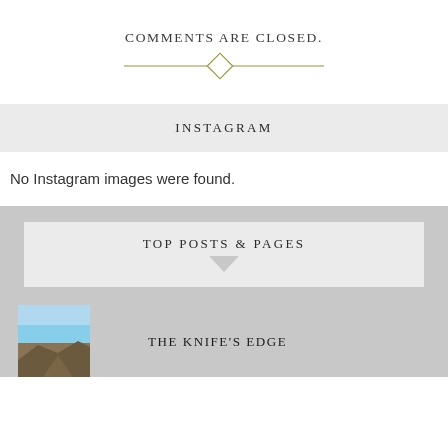COMMENTS ARE CLOSED.
[Figure (illustration): Decorative horizontal divider with a diamond shape in the center, rendered in olive/gold color]
INSTAGRAM
No Instagram images were found.
TOP POSTS & PAGES
THE KNIFE'S EDGE